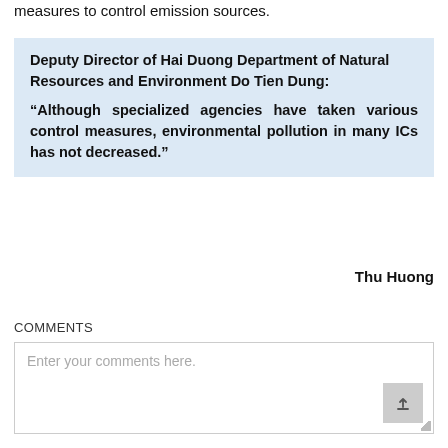measures to control emission sources.
Deputy Director of Hai Duong Department of Natural Resources and Environment Do Tien Dung:

“Although specialized agencies have taken various control measures, environmental pollution in many ICs has not decreased.”
Thu Huong
COMMENTS
Enter your comments here.